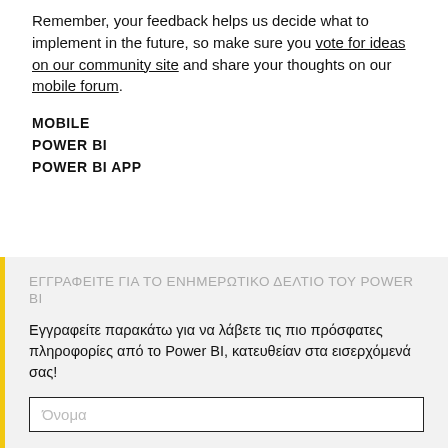Remember, your feedback helps us decide what to implement in the future, so make sure you vote for ideas on our community site and share your thoughts on our mobile forum.
MOBILE
POWER BI
POWER BI APP
ΕΓΓΡΑΦΕΙΤΕ ΓΙΑ ΤΟ ΕΝΗΜΕΡΩΤΙΚΟ ΔΕΛΤΙΟ ΤΟΥ POWER BI
Εγγραφείτε παρακάτω για να λάβετε τις πιο πρόσφατες πληροφορίες από το Power BI, κατευθείαν στα εισερχόμενά σας!
Όνομα